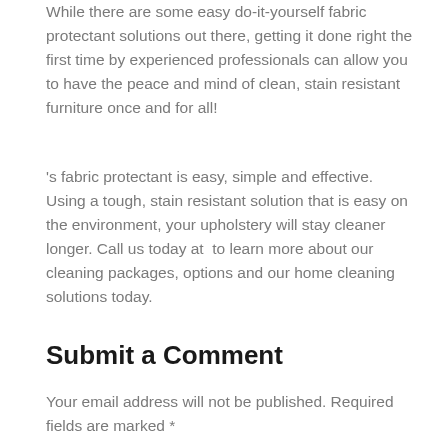While there are some easy do-it-yourself fabric protectant solutions out there, getting it done right the first time by experienced professionals can allow you to have the peace and mind of clean, stain resistant furniture once and for all!
's fabric protectant is easy, simple and effective. Using a tough, stain resistant solution that is easy on the environment, your upholstery will stay cleaner longer. Call us today at  to learn more about our cleaning packages, options and our home cleaning solutions today.
Submit a Comment
Your email address will not be published. Required fields are marked *